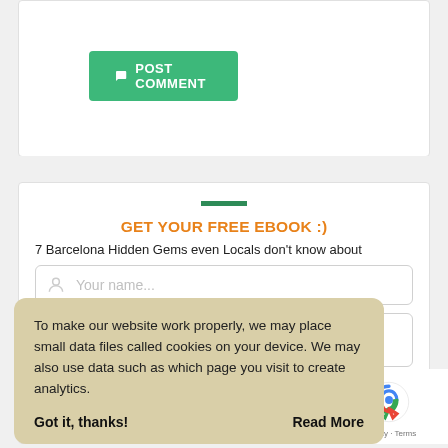[Figure (screenshot): Green 'POST COMMENT' button with chat bubble icon]
[Figure (screenshot): Green decorative bar divider]
GET YOUR FREE EBOOK :)
7 Barcelona Hidden Gems even Locals don't know about
[Figure (screenshot): Your name... input field with user icon]
To make our website work properly, we may place small data files called cookies on your device. We may also use data such as which page you visit to create analytics.
Got it, thanks!     Read More
[Figure (screenshot): reCAPTCHA logo with Privacy and Terms links]